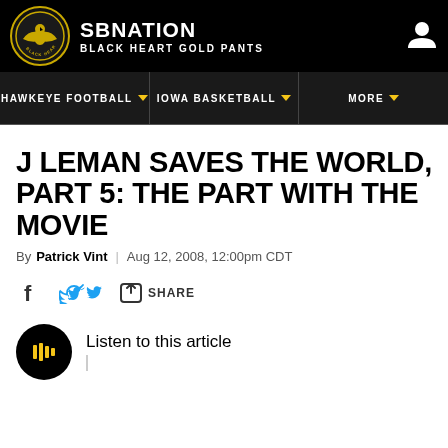SB NATION – BLACK HEART GOLD PANTS
HAWKEYE FOOTBALL | IOWA BASKETBALL | MORE
J LEMAN SAVES THE WORLD, PART 5: THE PART WITH THE MOVIE
By Patrick Vint | Aug 12, 2008, 12:00pm CDT
SHARE
Listen to this article